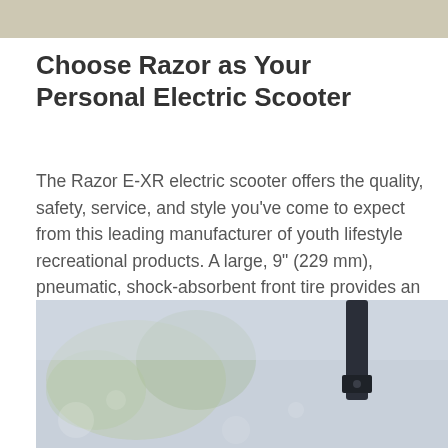[Figure (photo): Top portion of an outdoor photo, partially visible at the top of the page]
Choose Razor as Your Personal Electric Scooter
The Razor E-XR electric scooter offers the quality, safety, service, and style you've come to expect from this leading manufacturer of youth lifestyle recreational products. A large, 9" (229 mm), pneumatic, shock-absorbent front tire provides an ultra-smooth, comfortable ride while the heavy-duty, steel frame and tubular, steel fork stand up to the toughest most rugged rides.
[Figure (photo): Bottom portion of an outdoor photo showing a scooter handlebar/stem against a blurred outdoor background with trees]